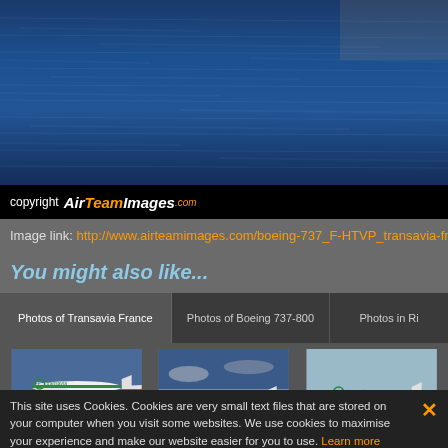[Figure (photo): Aerial or ocean water photograph — deep blue water texture visible, partial airplane image cropped at top]
copyright AirTeamImages.com
Image link: http://www.airteamimages.com/boeing-737_F-HTVP_transavia-france
You might also like...
Photos of Transavia France  |  Photos of Boeing 737-800  |  Photos in Ri...
[Figure (photo): Transavia France Boeing 737 aircraft on ground with green logo, brown grass in foreground]
[Figure (photo): Transavia France Boeing 737 aircraft landing or in flight, dramatic sky]
[Figure (photo): Transavia France Boeing 737 aircraft parked on tarmac]
This site uses Cookies. Cookies are very small text files that are stored on your computer when you visit some websites. We use cookies to maximise your experience and make our website easier for you to use. Learn more